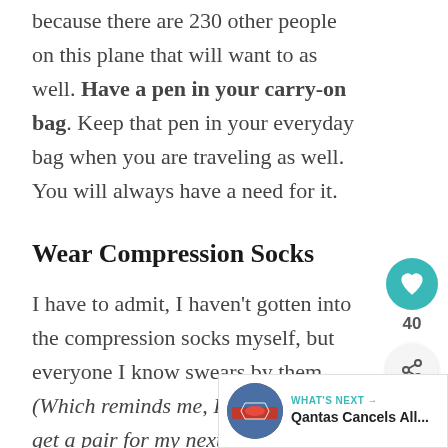because there are 230 other people on this plane that will want to as well. Have a pen in your carry-on bag. Keep that pen in your everyday bag when you are traveling as well. You will always have a need for it.
Wear Compression Socks
I have to admit, I haven't gotten into the compression socks myself, but everyone I know swears by them. (Which reminds me, I really need to get a pair for my next international flight!)
If you have varicose or spider veins, suffer